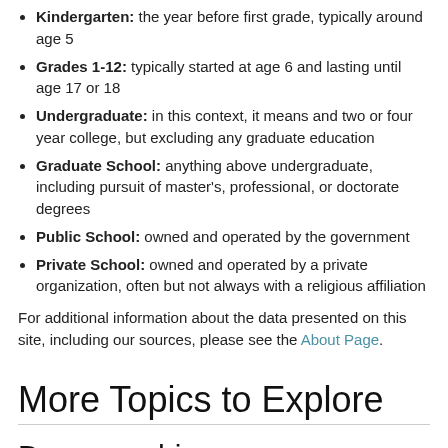Kindergarten: the year before first grade, typically around age 5
Grades 1-12: typically started at age 6 and lasting until age 17 or 18
Undergraduate: in this context, it means and two or four year college, but excluding any graduate education
Graduate School: anything above undergraduate, including pursuit of master's, professional, or doctorate degrees
Public School: owned and operated by the government
Private School: owned and operated by a private organization, often but not always with a religious affiliation
For additional information about the data presented on this site, including our sources, please see the About Page.
More Topics to Explore
Demographics